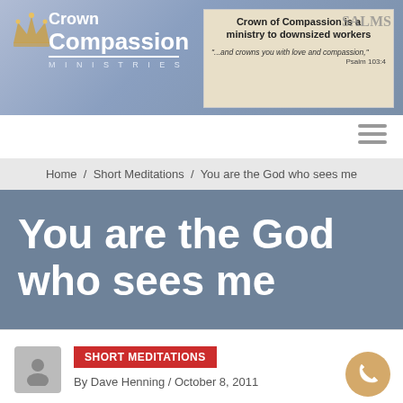[Figure (logo): Crown of Compassion Ministries banner header with logo on left showing crown icon and text 'Crown Compassion Ministries', and on right a text box on aged paper background reading 'Crown of Compassion is a ministry to downsized workers' and '...and crowns you with love and compassion,' Psalm 103:4]
Home / Short Meditations / You are the God who sees me
You are the God who sees me
SHORT MEDITATIONS
By Dave Henning / October 8, 2011